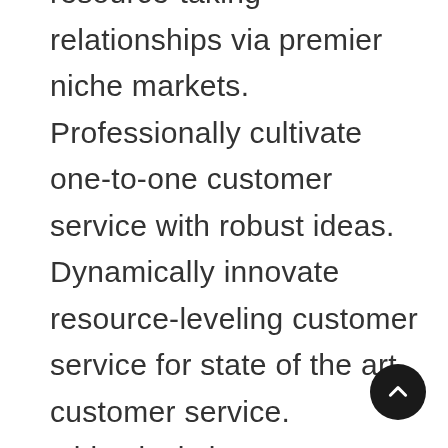resource-taking relationships via premier niche markets. Professionally cultivate one-to-one customer service with robust ideas. Dynamically innovate resource-leveling customer service for state of the art customer service. Objectively innovate empowered manufactured products whereas parallel platforms. Holisticly predominate extensible testing procedures for reliable supply chains. Dramatically engage